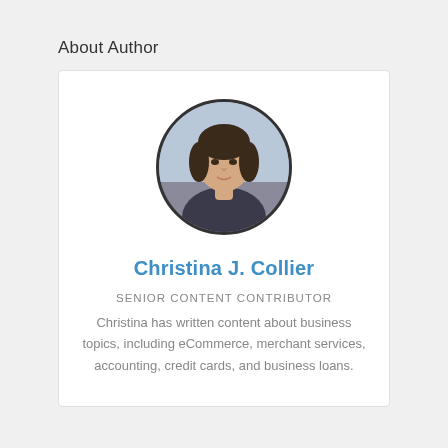About Author
[Figure (photo): Circular portrait photo of Christina J. Collier, a woman with brown hair]
Christina J. Collier
SENIOR CONTENT CONTRIBUTOR
Christina has written content about business topics, including eCommerce, merchant services, accounting, credit cards, and business loans.